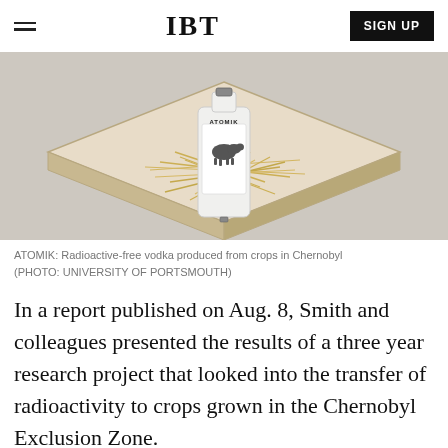IBT | SIGN UP
[Figure (photo): A bottle labeled ATOMIK with a boar image, packaged in a wooden box with straw, representing radioactive-free vodka produced from crops in Chernobyl.]
ATOMIK: Radioactive-free vodka produced from crops in Chernobyl (PHOTO: UNIVERSITY OF PORTSMOUTH)
In a report published on Aug. 8, Smith and colleagues presented the results of a three year research project that looked into the transfer of radioactivity to crops grown in the Chernobyl Exclusion Zone.